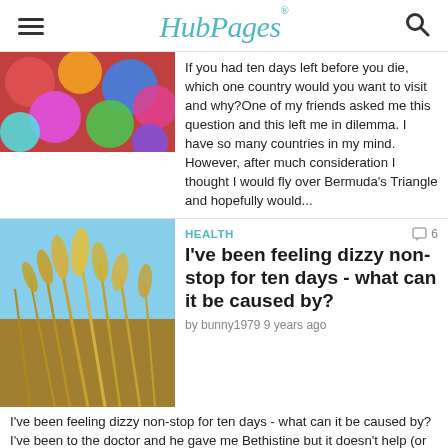HubPages
[Figure (photo): Colorful balls/yarn image thumbnail]
If you had ten days left before you die, which one country would you want to visit and why?One of my friends asked me this question and this left me in dilemma. I have so many countries in my mind. However, after much consideration I thought I would fly over Bermuda's Triangle and hopefully would...
HEALTH
6
[Figure (photo): Golden grass/wheat stalks against blue sky]
I've been feeling dizzy non-stop for ten days - what can it be caused by?
by bunny1979 9 years ago
I've been feeling dizzy non-stop for ten days - what can it be caused by?I've been to the doctor and he gave me Bethistine but it doesn't help (or maybe needs to build up in the system). I've been reading about dizziness on the internet and it seems that it normally doesn't last longer than 24